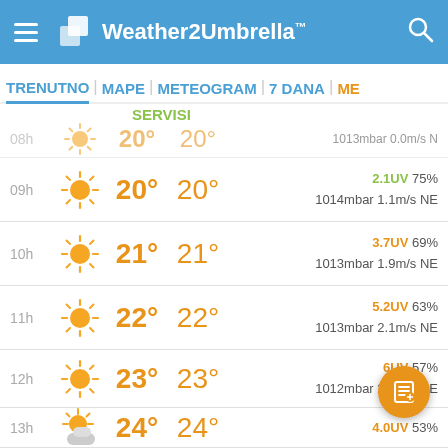Weather2Umbrella™ app bar with hamburger menu and search icon
TRENUTNO | MAPE | METEOGRAM | 7 DANA | ME
SERVISI
| Time | Icon | Temp | Feels | UV/Humidity | Pressure/Wind |
| --- | --- | --- | --- | --- | --- |
| 08h | sun | 20° | 20° |  | 1013mbar 0.0m/s N |
| 09h | sun | 20° | 20° | 2.1UV 75% | 1014mbar 1.1m/s NE |
| 10h | sun | 21° | 21° | 3.7UV 69% | 1013mbar 1.9m/s NE |
| 11h | sun | 22° | 22° | 5.2UV 63% | 1013mbar 2.1m/s NE |
| 12h | sun | 23° | 23° | 6UV 57% | 1012mbar 2.3m/s NE |
| 13h | sun+cloud | 24° | 24° | 4.0UV 53% | 1011mbar ... E |
| 14h | sun+cloud | 25° | 25° | 4.4UV 49% | 1011mbar 2.3m/s NE |